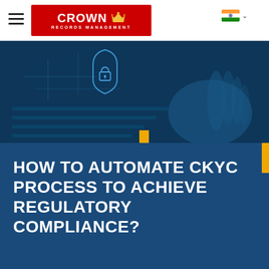[Figure (logo): Crown Records Management logo — white text on red background with crown icon]
[Figure (photo): Blue-tinted photo of hands typing on a laptop with a digital padlock/security overlay on the screen]
HOW TO AUTOMATE CKYC PROCESS TO ACHIEVE REGULATORY COMPLIANCE?